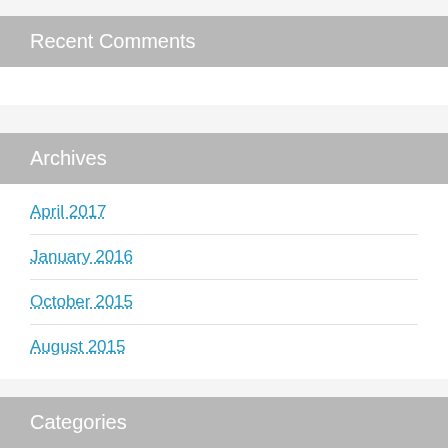Recent Comments
Archives
April 2017
January 2016
October 2015
August 2015
Categories